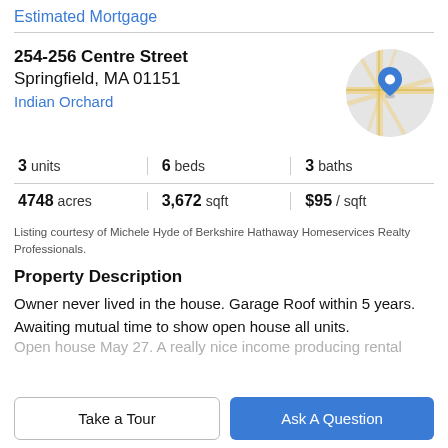Estimated Mortgage
254-256 Centre Street
Springfield, MA 01151
Indian Orchard
[Figure (map): Circular map thumbnail showing street map with a blue location pin marker]
| 3 units | 6 beds | 3 baths |
| 4748 acres | 3,672 sqft | $95 / sqft |
Listing courtesy of Michele Hyde of Berkshire Hathaway Homeservices Realty Professionals.
Property Description
Owner never lived in the house. Garage Roof within 5 years. Awaiting mutual time to show open house all units.
Open house May 27. A really nice income producing rental
Take a Tour
Ask A Question